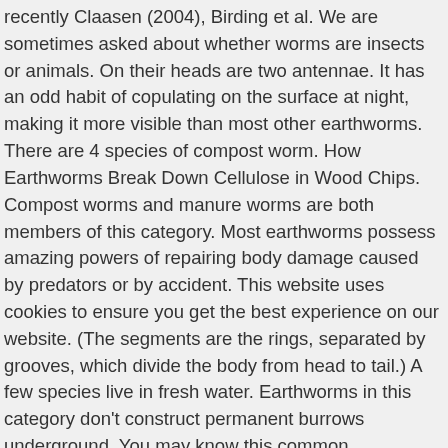recently Claasen (2004), Birding et al. We are sometimes asked about whether worms are insects or animals. On their heads are two antennae. It has an odd habit of copulating on the surface at night, making it more visible than most other earthworms. There are 4 species of compost worm. How Earthworms Break Down Cellulose in Wood Chips. Compost worms and manure worms are both members of this category. Most earthworms possess amazing powers of repairing body damage caused by predators or by accident. This website uses cookies to ensure you get the best experience on our website. (The segments are the rings, separated by grooves, which divide the body from head to tail.) A few species live in fresh water. Earthworms in this category don't construct permanent burrows underground. You may know this common earthworm species by its other name: nightcrawler. Then, as it passes the sperm receptacles nearer the anterior end, it receives sperm that was deposited there previously. Join us, volunteer and be a part of our journey of discovery! The eggs, formed in a pair of ovaries, are released from the oviducts into one of two tiny pores: